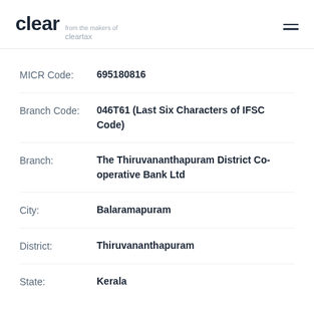clear from the makers of cleartax
| Field | Value |
| --- | --- |
| MICR Code: | 695180816 |
| Branch Code: | 046T61 (Last Six Characters of IFSC Code) |
| Branch: | The Thiruvananthapuram District Co-operative Bank Ltd |
| City: | Balaramapuram |
| District: | Thiruvananthapuram |
| State: | Kerala |